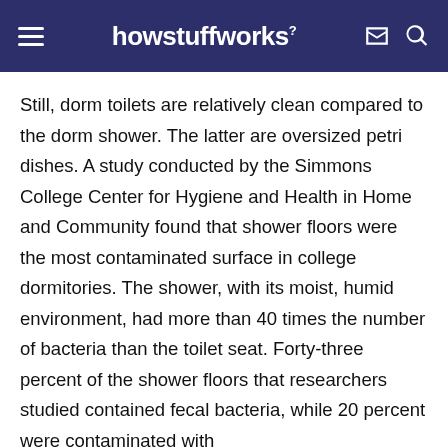howstuffworks
Still, dorm toilets are relatively clean compared to the dorm shower. The latter are oversized petri dishes. A study conducted by the Simmons College Center for Hygiene and Health in Home and Community found that shower floors were the most contaminated surface in college dormitories. The shower, with its moist, humid environment, had more than 40 times the number of bacteria than the toilet seat. Forty-three percent of the shower floors that researchers studied contained fecal bacteria, while 20 percent were contaminated with